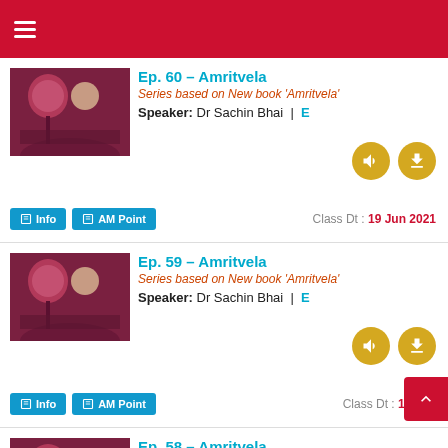Navigation menu header bar
Ep. 60 – Amritvela | Series based on New book 'Amritvela' | Speaker: Dr Sachin Bhai | E | Class Dt: 19 Jun 2021
Ep. 59 – Amritvela | Series based on New book 'Amritvela' | Speaker: Dr Sachin Bhai | E | Class Dt: 18 Jun
Ep. 58 – Amritvela | Series based on New book 'Amritvela'